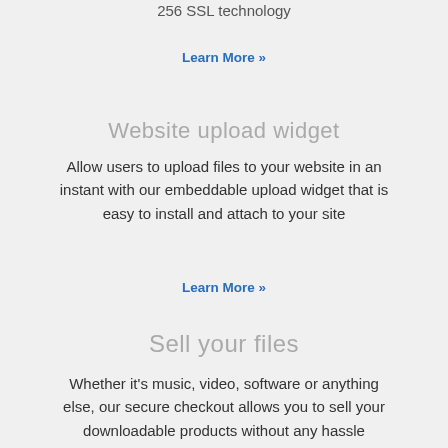256 SSL technology
Learn More »
Website upload widget
Allow users to upload files to your website in an instant with our embeddable upload widget that is easy to install and attach to your site
Learn More »
Sell your files
Whether it's music, video, software or anything else, our secure checkout allows you to sell your downloadable products without any hassle